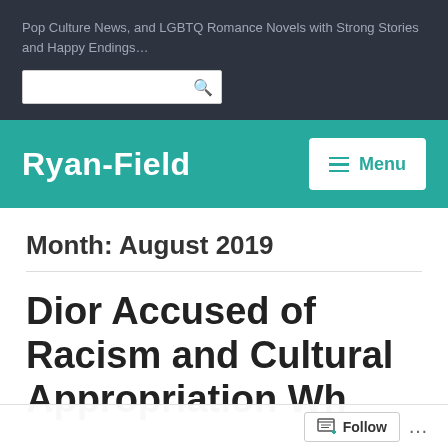Pop Culture News, and LGBTQ Romance Novels with Strong Stories and Happy Endings…
Ryan-Field
Month: August 2019
Dior Accused of Racism and Cultural Appropriation Wh…